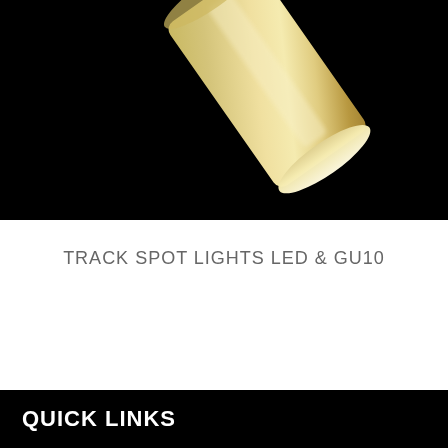[Figure (photo): Close-up photo of a gold/brass cylindrical track spot light against a black background, shown at an angle.]
TRACK SPOT LIGHTS LED & GU10
QUICK LINKS